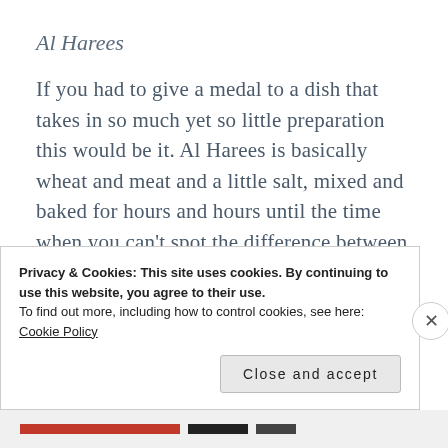Al Harees
If you had to give a medal to a dish that takes in so much yet so little preparation this would be it. Al Harees is basically wheat and meat and a little salt, mixed and baked for hours and hours until the time when you can't spot the difference between the two. This is the most served dish during festivals
Privacy & Cookies: This site uses cookies. By continuing to use this website, you agree to their use.
To find out more, including how to control cookies, see here:
Cookie Policy
Close and accept